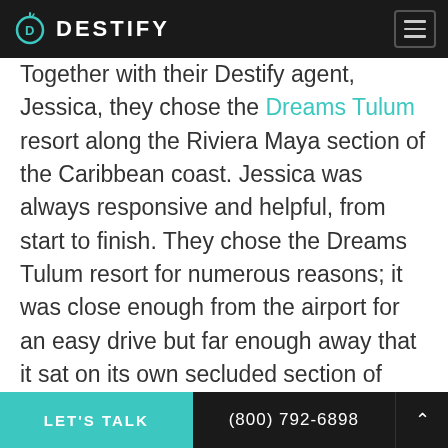DESTIFY
Together with their Destify agent, Jessica, they chose the Dreams Tulum resort along the Riviera Maya section of the Caribbean coast. Jessica was always responsive and helpful, from start to finish. They chose the Dreams Tulum resort for numerous reasons; it was close enough from the airport for an easy drive but far enough away that it sat on its own secluded section of land. It also was budget-friendly and airport transfers were included, and they really loved the jungle-tropical beauty of it all.
LET'S TALK | (800) 792-6898